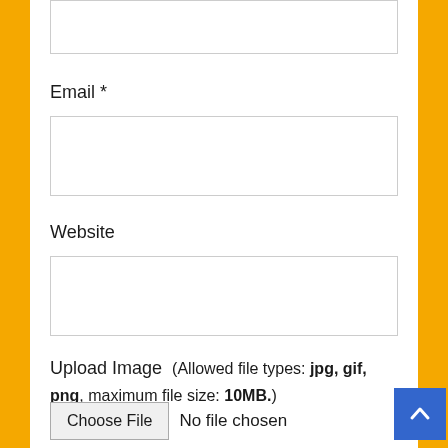[Figure (screenshot): Partial form input box at top of page, cut off]
Email *
[Figure (screenshot): Email text input field box]
Website
[Figure (screenshot): Website text input field box]
Upload Image  (Allowed file types: jpg, gif, png, maximum file size: 10MB.
[Figure (screenshot): Choose File button with 'No file chosen' text next to it]